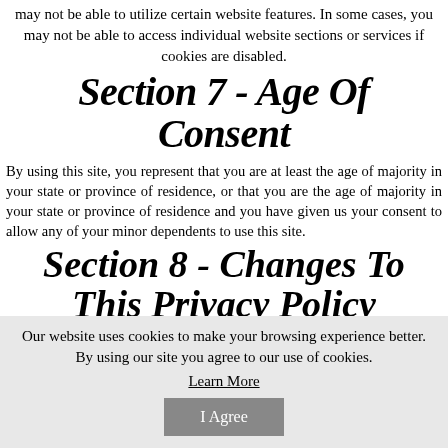may not be able to utilize certain website features. In some cases, you may not be able to access individual website sections or services if cookies are disabled.
Section 7 - Age Of Consent
By using this site, you represent that you are at least the age of majority in your state or province of residence, or that you are the age of majority in your state or province of residence and you have given us your consent to allow any of your minor dependents to use this site.
Section 8 - Changes To This Privacy Policy
Our website uses cookies to make your browsing experience better. By using our site you agree to our use of cookies.
Learn More
I Agree